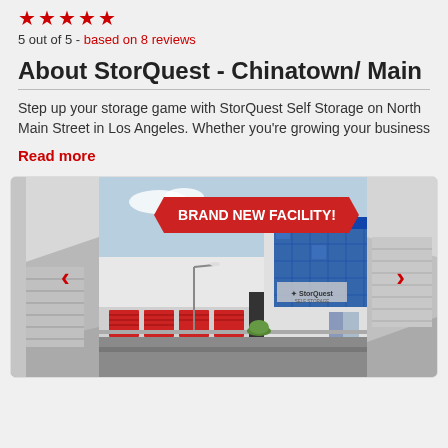[Figure (illustration): Five red star rating icons]
5 out of 5 - based on 8 reviews
About StorQuest - Chinatown/ Main
Step up your storage game with StorQuest Self Storage on North Main Street in Los Angeles. Whether you're growing your business
Read more
[Figure (photo): Image carousel showing StorQuest storage facility building with 'BRAND NEW FACILITY!' banner. Center image shows modern building with blue glass facade and red rollup doors. Left and right sides show partial views of storage unit corridors. Navigation arrows on left and right sides.]